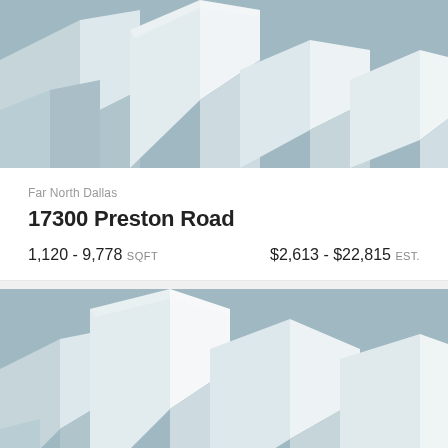[Figure (illustration): Geometric abstract building illustration with light gray and blue-gray polygonal 3D shapes on a light steel blue background]
Far North Dallas
17300 Preston Road
1,120 - 9,778 SQFT   $2,613 - $22,815 EST.
[Figure (illustration): Geometric abstract building illustration with light gray and blue-gray polygonal 3D shapes on a light steel blue background, partial view]